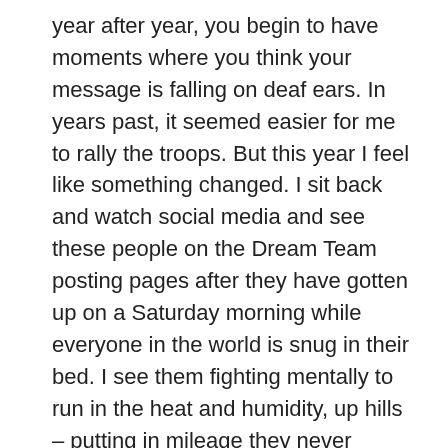year after year, you begin to have moments where you think your message is falling on deaf ears. In years past, it seemed easier for me to rally the troops. But this year I feel like something changed. I sit back and watch social media and see these people on the Dream Team posting pages after they have gotten up on a Saturday morning while everyone in the world is snug in their bed. I see them fighting mentally to run in the heat and humidity, up hills – putting in mileage they never dreamed they could accomplish. Only to finish with their body's aching, limping to their cars. They go home and push out their proud morning to their supporters and often times get no donations to support them. We have runners